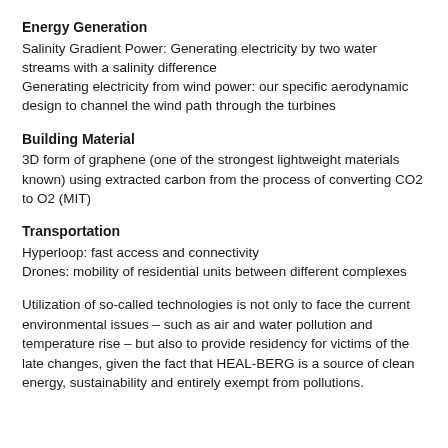Energy Generation
Salinity Gradient Power: Generating electricity by two water streams with a salinity difference
Generating electricity from wind power: our specific aerodynamic design to channel the wind path through the turbines
Building Material
3D form of graphene (one of the strongest lightweight materials known) using extracted carbon from the process of converting CO2 to O2 (MIT)
Transportation
Hyperloop: fast access and connectivity
Drones: mobility of residential units between different complexes
Utilization of so-called technologies is not only to face the current environmental issues – such as air and water pollution and temperature rise – but also to provide residency for victims of the late changes, given the fact that HEAL-BERG is a source of clean energy, sustainability and entirely exempt from pollutions.